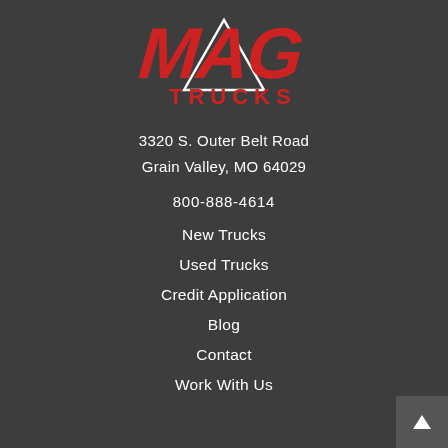[Figure (logo): MAG Trucks logo — stylized red brush-stroke letters 'MAG' over a white triangle outline, with 'TRUCKS' in red below]
3320 S. Outer Belt Road
Grain Valley, MO 64029
800-888-4614
New Trucks
Used Trucks
Credit Application
Blog
Contact
Work With Us